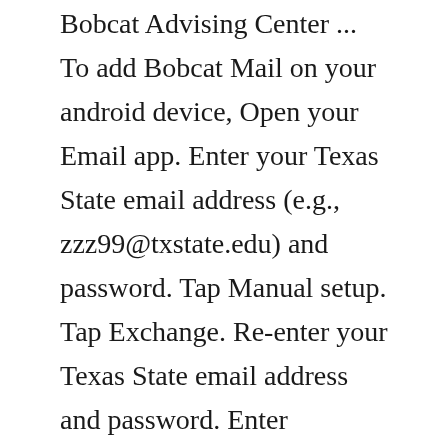Bobcat Advising Center ... To add Bobcat Mail on your android device, Open your Email app. Enter your Texas State email address (e.g., zzz99@txstate.edu) and password. Tap Manual setup. Tap Exchange. Re-enter your Texas State email address and password. Enter TXSTATE\your NetID (e.g., TXSTATE\zzz99) for Domain\username and outlook.office365.com for Exchange server. May 05, 2019 · It is intended to bring